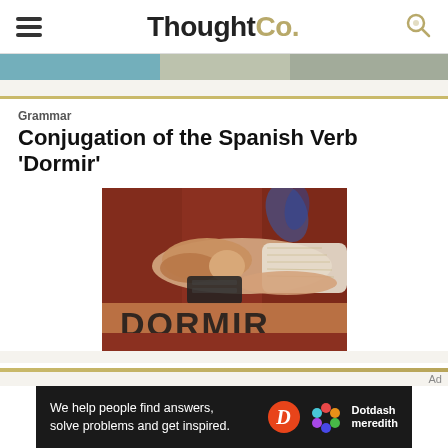ThoughtCo.
Grammar
Conjugation of the Spanish Verb 'Dormir'
[Figure (photo): Woman with long hair lying down asleep against a red wall with graffiti that reads DORMIR]
[Figure (other): Advertisement banner: We help people find answers, solve problems and get inspired. Dotdash meredith logo]
Ad